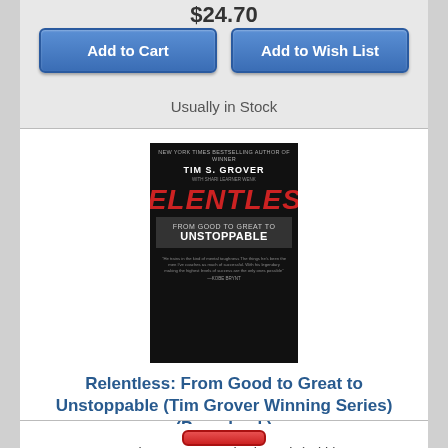$24.70
Add to Cart
Add to Wish List
Usually in Stock
[Figure (illustration): Book cover for Relentless: From Good to Great to Unstoppable by Tim S. Grover. Black cover with red title text and white subtitle.]
Relentless: From Good to Great to Unstoppable (Tim Grover Winning Series) (Paperback)
By Tim S. Grover, Shari Wenk (With)
$17.09
Add to Cart
Add to Wish List
Usually in Stock